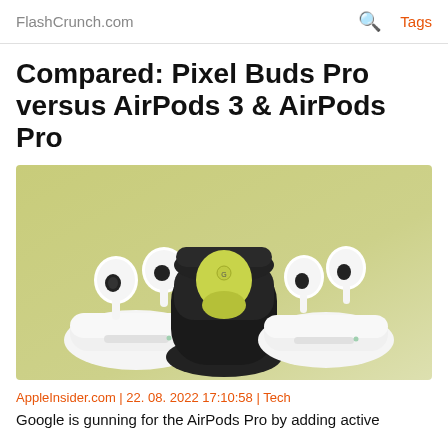FlashCrunch.com   🔍   Tags
Compared: Pixel Buds Pro versus AirPods 3 & AirPods Pro
[Figure (photo): Product photo showing AirPods 3 (left, in white charging case), Google Pixel Buds Pro (center, in black case, yellow-green color), and AirPods Pro (right, in white charging case) against a yellow-green gradient background.]
AppleInsider.com | 22. 08. 2022 17:10:58 | Tech
Google is gunning for the AirPods Pro by adding active